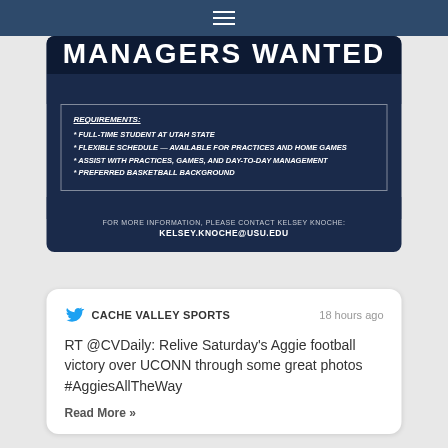[Figure (screenshot): Managers Wanted flyer for Utah State basketball with requirements box]
RT @CVDaily: Relive Saturday's Aggie football victory over UCONN through some great photos #AggiesAllTheWay
Read More »